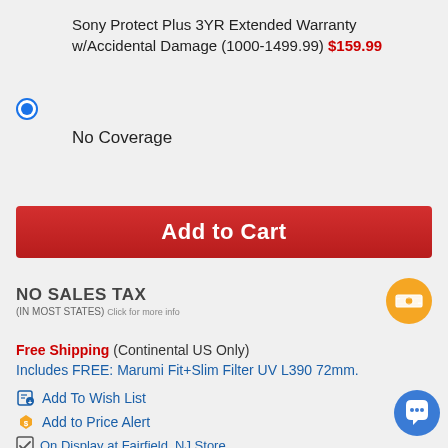Sony Protect Plus 3YR Extended Warranty w/Accidental Damage (1000-1499.99) $159.99
No Coverage
Add to Cart
[Figure (infographic): NO SALES TAX (IN MOST STATES) Click for more info with orange money icon]
Free Shipping (Continental US Only)
Includes FREE: Marumi Fit+Slim Filter UV L390 72mm.
Add To Wish List
Add to Price Alert
On Display at Fairfield, NJ Store
On Display at Philadelphia, PA Store